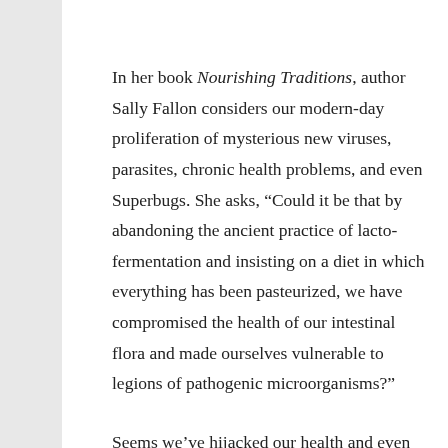In her book Nourishing Traditions, author Sally Fallon considers our modern-day proliferation of mysterious new viruses, parasites, chronic health problems, and even Superbugs. She asks, “Could it be that by abandoning the ancient practice of lacto-fermentation and insisting on a diet in which everything has been pasteurized, we have compromised the health of our intestinal flora and made ourselves vulnerable to legions of pathogenic microorganisms?”
Seems we’ve hijacked our health and even our